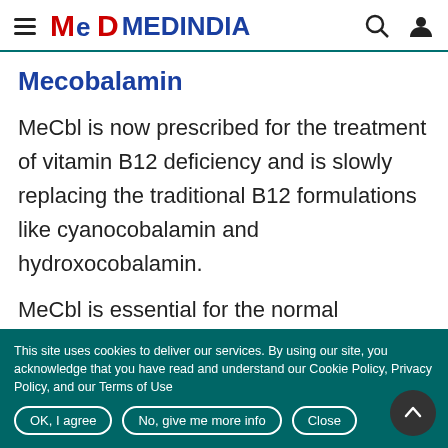MEDINDIA
Mecobalamin
MeCbl is now prescribed for the treatment of vitamin B12 deficiency and is slowly replacing the traditional B12 formulations like cyanocobalamin and hydroxocobalamin.
MeCbl is essential for the normal
This site uses cookies to deliver our services. By using our site, you acknowledge that you have read and understand our Cookie Policy, Privacy Policy, and our Terms of Use